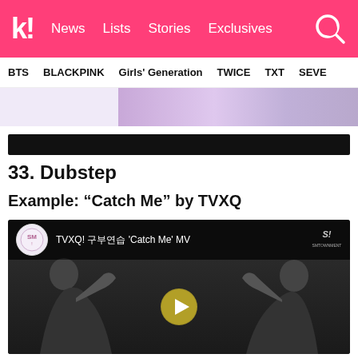k! News Lists Stories Exclusives
BTS BLACKPINK Girls' Generation TWICE TXT SEVE
[Figure (photo): Partial photo strip of K-pop artists at top of page]
[Figure (other): Black banner/advertisement bar]
33. Dubstep
Example: “Catch Me” by TVXQ
[Figure (screenshot): Embedded YouTube video thumbnail for TVXQ! 'Catch Me' MV showing two people in black and white with play button overlay. SM Entertainment logo visible.]